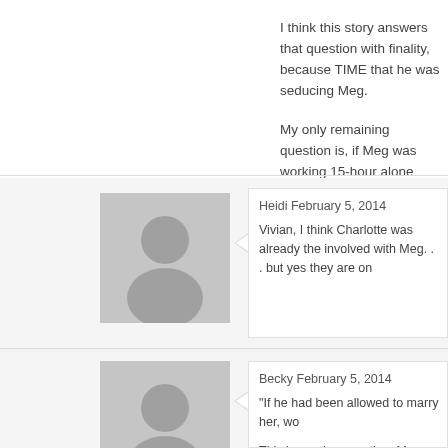I think this story answers that question with finality, because TIME that he was seducing Meg.
My only remaining question is, if Meg was working 15-hour alone with Charlotte too, without Meg suspecting anything?
Heidi February 5, 2014
Vivian, I think Charlotte was already the involved with Meg. . . but yes they are on
Becky February 5, 2014
"If he had been allowed to marry her, wo
This is a naive question. Many rapists are with their wives. Even in this story Charlo outlet does not stop sexual deviancy. As many years with no "outlet" and yet do n normal relationships by getting married...